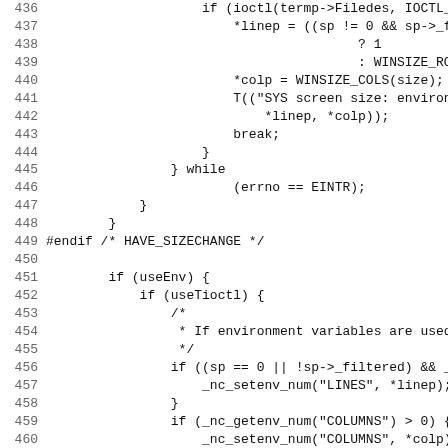[Figure (screenshot): Source code listing lines 436-467 of a C file showing curses/ncurses library code for terminal size detection, including ioctl calls, WINSIZE macros, environment variable handling, and comments about Solaris behavior.]